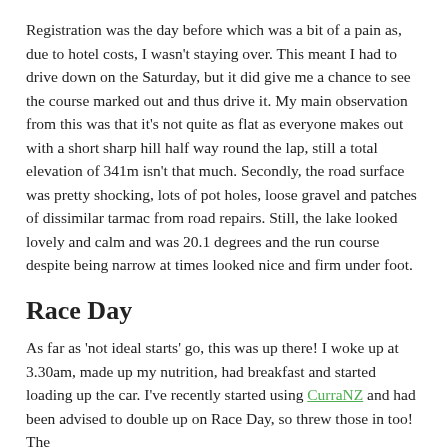Registration was the day before which was a bit of a pain as, due to hotel costs, I wasn't staying over. This meant I had to drive down on the Saturday, but it did give me a chance to see the course marked out and thus drive it. My main observation from this was that it's not quite as flat as everyone makes out with a short sharp hill half way round the lap, still a total elevation of 341m isn't that much. Secondly, the road surface was pretty shocking, lots of pot holes, loose gravel and patches of dissimilar tarmac from road repairs. Still, the lake looked lovely and calm and was 20.1 degrees and the run course despite being narrow at times looked nice and firm under foot.
Race Day
As far as 'not ideal starts' go, this was up there! I woke up at 3.30am, made up my nutrition, had breakfast and started loading up the car. I've recently started using CurraNZ and had been advised to double up on Race Day, so threw those in too! The ...